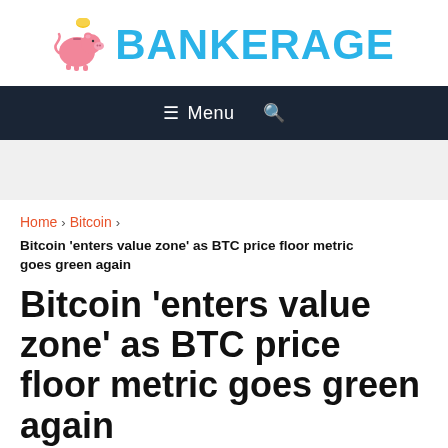[Figure (logo): Bankerage logo with pink piggy bank icon and blue bold text 'BANKERAGE']
≡ Menu 🔍
Home › Bitcoin › Bitcoin 'enters value zone' as BTC price floor metric goes green again
Bitcoin 'enters value zone' as BTC price floor metric goes green again